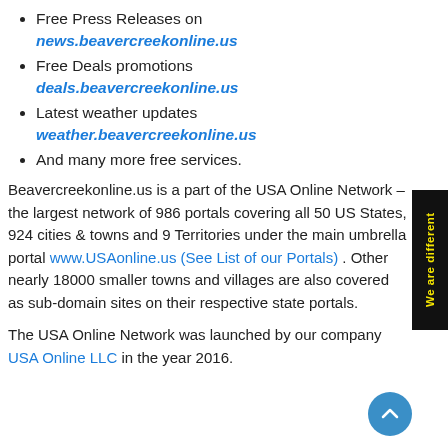Free Press Releases on news.beavercreekonline.us
Free Deals promotions deals.beavercreekonline.us
Latest weather updates weather.beavercreekonline.us
And many more free services.
Beavercreekonline.us is a part of the USA Online Network – the largest network of 986 portals covering all 50 US States, 924 cities & towns and 9 Territories under the main umbrella portal www.USAonline.us (See List of our Portals) . Other nearly 18000 smaller towns and villages are also covered as sub-domain sites on their respective state portals.
The USA Online Network was launched by our company USA Online LLC in the year 2016.